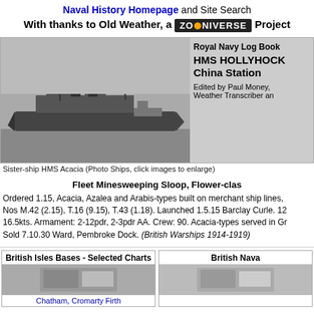Naval History Homepage and Site Search
With thanks to Old Weather, a ZOONIVERSE Project
[Figure (photo): Black and white photograph of sister-ship HMS Acacia, a Fleet Minesweeping Sloop, shown in profile on water]
Royal Navy Log Book
HMS HOLLYHOCK China Station
Edited by Paul Money, Weather Transcriber an...
Sister-ship HMS Acacia (Photo Ships, click images to enlarge)
Fleet Minesweeping Sloop, Flower-class
Ordered 1.15, Acacia, Azalea and Arabis-types built on merchant ship lines, Nos M.42 (2.15), T.16 (9.15), T.43 (1.18). Launched 1.5.15 Barclay Curle. 12... 16.5kts. Armament: 2-12pdr, 2-3pdr AA. Crew: 90. Acacia-types served in Gr... Sold 7.10.30 Ward, Pembroke Dock. (British Warships 1914-1919)
British Isles Bases - Selected Charts
Chatham, Cromarty Firth
British Nava...